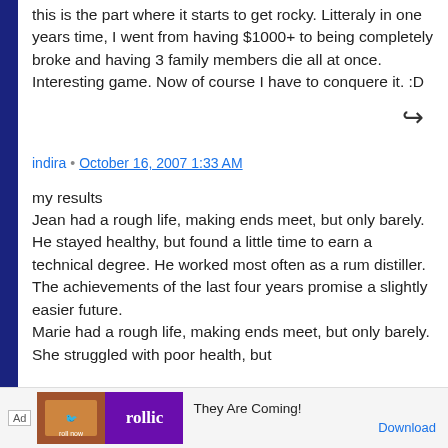this is the part where it starts to get rocky. Litteraly in one years time, I went from having $1000+ to being completely broke and having 3 family members die all at once. Interesting game. Now of course I have to conquere it. :D
indira • October 16, 2007 1:33 AM
my results
Jean had a rough life, making ends meet, but only barely. He stayed healthy, but found a little time to earn a technical degree. He worked most often as a rum distiller. The achievements of the last four years promise a slightly easier future.
Marie had a rough life, making ends meet, but only barely. She struggled with poor health, but